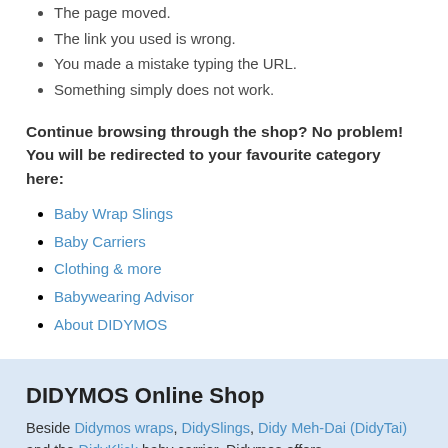The page moved.
The link you used is wrong.
You made a mistake typing the URL.
Something simply does not work.
Continue browsing through the shop? No problem! You will be redirected to your favourite category here:
Baby Wrap Slings
Baby Carriers
Clothing & more
Babywearing Advisor
About DIDYMOS
DIDYMOS Online Shop
Beside Didymos wraps, DidySlings, Didy Meh-Dai (DidyTai) and the DidyKlick baby carrier, Didymos offers